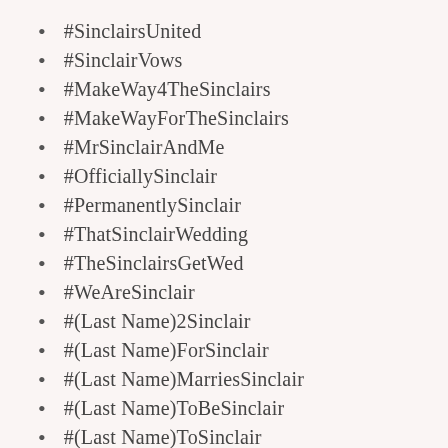#SinclairsUnited
#SinclairVows
#MakeWay4TheSinclairs
#MakeWayForTheSinclairs
#MrSinclairAndMe
#OfficiallySinclair
#PermanentlySinclair
#ThatSinclairWedding
#TheSinclairsGetWed
#WeAreSinclair
#(Last Name)2Sinclair
#(Last Name)ForSinclair
#(Last Name)MarriesSinclair
#(Last Name)ToBeSinclair
#(Last Name)ToSinclair